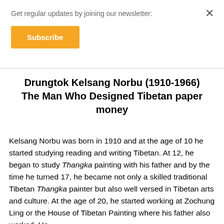Get regular updates by joining our newsletter:
Subscribe
Drungtok Kelsang Norbu (1910-1966)
The Man Who Designed Tibetan paper money
Kelsang Norbu was born in 1910 and at the age of 10 he started studying reading and writing Tibetan. At 12, he began to study Thangka painting with his father and by the time he turned 17, he became not only a skilled traditional Tibetan Thangka painter but also well versed in Tibetan arts and culture. At the age of 20, he started working at Zochung Ling or the House of Tibetan Painting where his father also worked. He